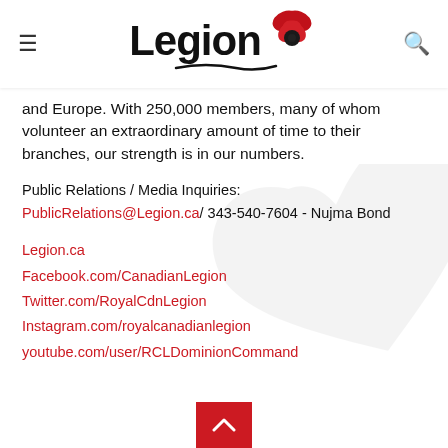Legion (logo with poppy)
and Europe. With 250,000 members, many of whom volunteer an extraordinary amount of time to their branches, our strength is in our numbers.
Public Relations / Media Inquiries: PublicRelations@Legion.ca/ 343-540-7604 - Nujma Bond
Legion.ca
Facebook.com/CanadianLegion
Twitter.com/RoyalCdnLegion
Instagram.com/royalcanadianlegion
youtube.com/user/RCLDominionCommand